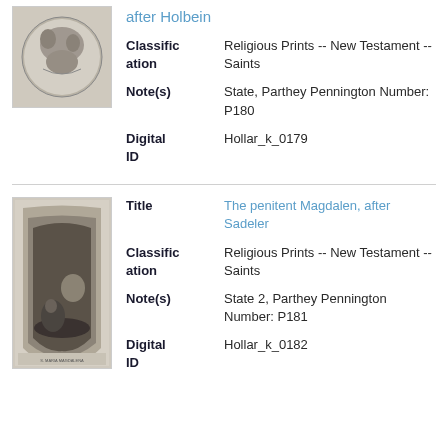[Figure (illustration): Circular engraving, religious scene with figures, black and white]
after Holbein
Classification: Religious Prints -- New Testament -- Saints
Note(s): State, Parthey Pennington Number: P180
Digital ID: Hollar_k_0179
[Figure (illustration): Tall rectangular engraving showing penitent figure in dark cave/grotto scene, black and white]
Title: The penitent Magdalen, after Sadeler
Classification: Religious Prints -- New Testament -- Saints
Note(s): State 2, Parthey Pennington Number: P181
Digital ID: Hollar_k_0182